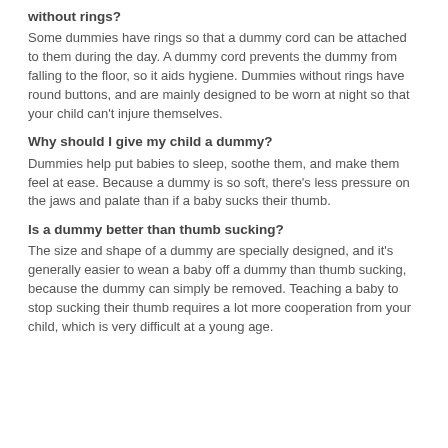without rings?
Some dummies have rings so that a dummy cord can be attached to them during the day. A dummy cord prevents the dummy from falling to the floor, so it aids hygiene. Dummies without rings have round buttons, and are mainly designed to be worn at night so that your child can't injure themselves.
Why should I give my child a dummy?
Dummies help put babies to sleep, soothe them, and make them feel at ease. Because a dummy is so soft, there's less pressure on the jaws and palate than if a baby sucks their thumb.
Is a dummy better than thumb sucking?
The size and shape of a dummy are specially designed, and it's generally easier to wean a baby off a dummy than thumb sucking, because the dummy can simply be removed. Teaching a baby to stop sucking their thumb requires a lot more cooperation from your child, which is very difficult at a young age.